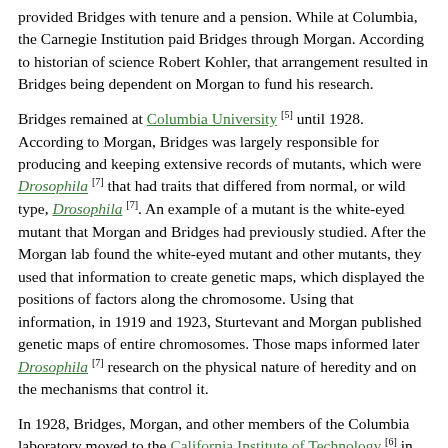provided Bridges with tenure and a pension. While at Columbia, the Carnegie Institution paid Bridges through Morgan. According to historian of science Robert Kohler, that arrangement resulted in Bridges being dependent on Morgan to fund his research.
Bridges remained at Columbia University [5] until 1928. According to Morgan, Bridges was largely responsible for producing and keeping extensive records of mutants, which were Drosophila [7] that had traits that differed from normal, or wild type, Drosophila [7]. An example of a mutant is the white-eyed mutant that Morgan and Bridges had previously studied. After the Morgan lab found the white-eyed mutant and other mutants, they used that information to create genetic maps, which displayed the positions of factors along the chromosome. Using that information, in 1919 and 1923, Sturtevant and Morgan published genetic maps of entire chromosomes. Those maps informed later Drosophila [7] research on the physical nature of heredity and on the mechanisms that control it.
In 1928, Bridges, Morgan, and other members of the Columbia laboratory moved to the California Institute of Technology [6] in Pasadena, California. Bridges had become estranged from his wife, Bridges and his family did not move to California with him. According to Kohler, Bridges had a promiscuous private lifestyle that complicated his family life and career. Throughout his career